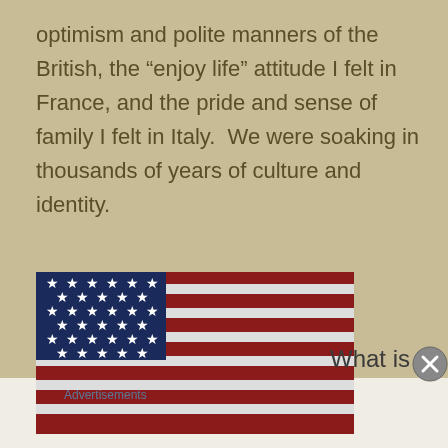optimism and polite manners of the British, the “enjoy life” attitude I felt in France, and the pride and sense of  family I felt in Italy.  We were soaking in thousands of years of culture and identity.
[Figure (photo): American flag with stars and red and white stripes waving]
What is
Advertisements